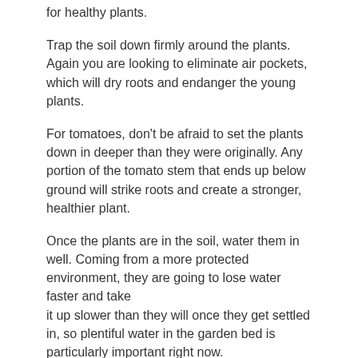for healthy plants.
Trap the soil down firmly around the plants. Again you are looking to eliminate air pockets, which will dry roots and endanger the young plants.
For tomatoes, don't be afraid to set the plants down in deeper than they were originally. Any portion of the tomato stem that ends up below ground will strike roots and create a stronger, healthier plant.
Once the plants are in the soil, water them in well. Coming from a more protected environment, they are going to lose water faster and take it up slower than they will once they get settled in, so plentiful water in the garden bed is particularly important right now.
Top dress the plants with an inch or so of well aged compost or double ground wood mulch.